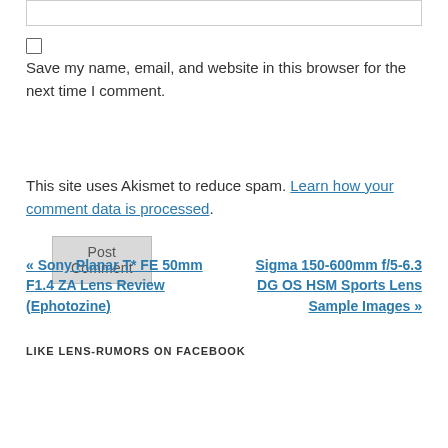[input box]
Save my name, email, and website in this browser for the next time I comment.
Post Comment
This site uses Akismet to reduce spam. Learn how your comment data is processed.
« Sony Planar T* FE 50mm F1.4 ZA Lens Review (Ephotozine)
Sigma 150-600mm f/5-6.3 DG OS HSM Sports Lens Sample Images »
LIKE LENS-RUMORS ON FACEBOOK